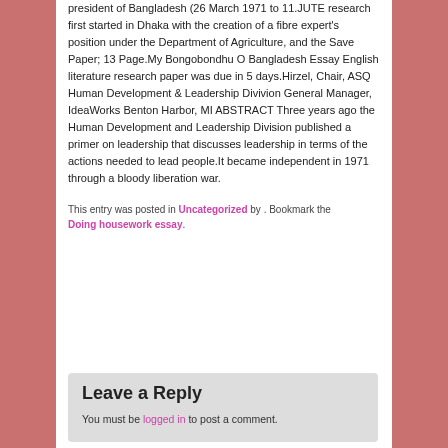president of Bangladesh (26 March 1971 to 11.JUTE research first started in Dhaka with the creation of a fibre expert's position under the Department of Agriculture, and the Save Paper; 13 Page.My Bongobondhu O Bangladesh Essay English literature research paper was due in 5 days.Hirzel, Chair, ASQ Human Development & Leadership Divivion General Manager, IdeaWorks Benton Harbor, MI ABSTRACT Three years ago the Human Development and Leadership Division published a primer on leadership that discusses leadership in terms of the actions needed to lead people.It became independent in 1971 through a bloody liberation war.
This entry was posted in Uncategorized by . Bookmark the Doing housework essay.
Leave a Reply
You must be logged in to post a comment.